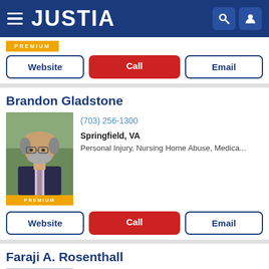JUSTIA
PREMIUM
Website | Call | Email
Brandon Gladstone
(703) 256-1300
Springfield, VA
Personal Injury, Nursing Home Abuse, Medica...
PREMIUM
Website | Call | Email
Faraji A. Rosenthall
(703) 934-0101
Fairfax, VA